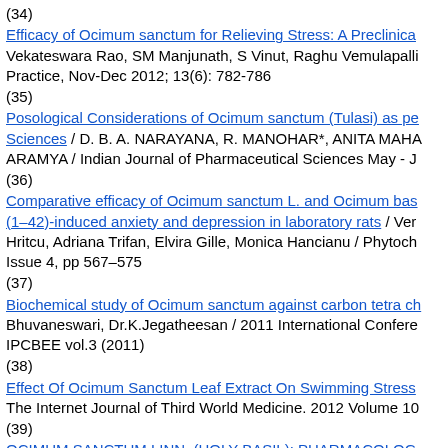(34)
Efficacy of Ocimum sanctum for Relieving Stress: A Preclinica... Vekateswara Rao, SM Manjunath, S Vinut, Raghu Vemulapalli... Practice, Nov-Dec 2012; 13(6): 782-786
(35)
Posological Considerations of Ocimum sanctum (Tulasi) as pe... Sciences / D. B. A. NARAYANA, R. MANOHAR*, ANITA MAHA... ARAMYA / Indian Journal of Pharmaceutical Sciences May - J...
(36)
Comparative efficacy of Ocimum sanctum L. and Ocimum bas... (1–42)-induced anxiety and depression in laboratory rats / Ver... Hritcu, Adriana Trifan, Elvira Gille, Monica Hancianu / Phytoch... Issue 4, pp 567–575
(37)
Biochemical study of Ocimum sanctum against carbon tetra ch... Bhuvaneswari, Dr.K.Jegatheesan / 2011 International Confere... IPCBEE vol.3 (2011)
(38)
Effect Of Ocimum Sanctum Leaf Extract On Swimming Stress... The Internet Journal of Third World Medicine. 2012 Volume 10...
(39)
OCIMUM SANCTUM LINN. (HOLY BASIL): PHARMACOLOG... EFFECT / BABY JOSEPH AND VRUNDHA M. NAIR* / Int J Ph...
(40)
Interaction study between Ocimum sanctum and Glimepiride (...